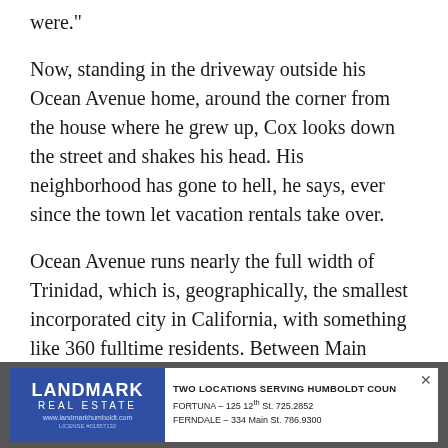were."
Now, standing in the driveway outside his Ocean Avenue home, around the corner from the house where he grew up, Cox looks down the street and shakes his head. His neighborhood has gone to hell, he says, ever since the town let vacation rentals take over.
Ocean Avenue runs nearly the full width of Trinidad, which is, geographically, the smallest incorporated city in California, with something like 360 fulltime residents. Between Main Street to the north and the bluff overlooking Trinidad Harbor to the south, Ocean Avenue is just over one-tenth of a mile long. And it's ground zero for Trinidad's civil war over VDUs — vacation dwelling
[Figure (other): Advertisement for Landmark Real Estate. Blue logo on left with text LANDMARK REAL ESTATE, www.landmarkhumboldt.com, LICENSE #01857132. Right side: TWO LOCATIONS SERVING HUMBOLDT COUN[TY], FORTUNA - 125 12th St. 725.2852, FERNDALE - 334 Main St. 786.9300]